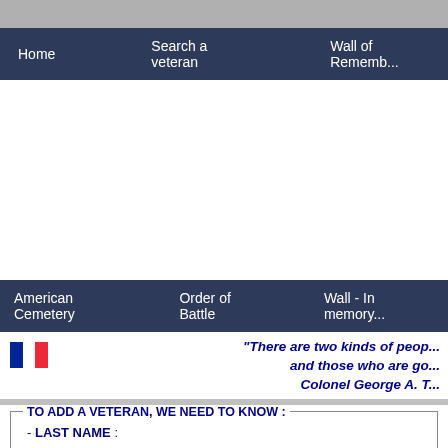Home   Search a veteran   Wall of Rememb...
American Cemetery   Order of Battle   Wall - In memory...
"There are two kinds of peop... and those who are go... Colonel George A. T...
[Figure (illustration): French tricolor flag icon]
TO ADD A VETERAN, WE NEED TO KNOW :
- LAST NAME :
- First name :
- Middle name :
- Suffix :
- Date of birth :
- Nationality :